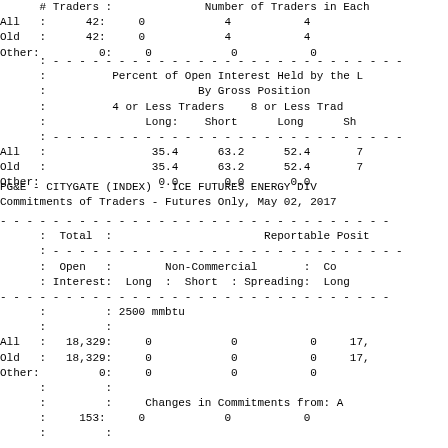|  | # Traders |  | Number of Traders in Each |
| --- | --- | --- | --- |
| All | 42: | 0 | 4 | 4 |
| Old | 42: | 0 | 4 | 4 |
| Other: | 0: | 0 | 0 | 0 |
|  |  | Percent of Open Interest Held by the | By Gross Position | 4 or Less Traders Long: | Short | 8 or Less Trad Long | Sh |
| --- | --- | --- | --- | --- | --- | --- | --- |
| All |  | 35.4 | 63.2 | 52.4 | 7 |
| Old |  | 35.4 | 63.2 | 52.4 | 7 |
| Other: |  | 0.0 | 0.0 | 0.0 |
PG&E - CITYGATE (INDEX) - ICE FUTURES ENERGY DIV
Commitments of Traders - Futures Only, May 02, 2017
|  | Total : |  | Reportable Posit |
| --- | --- | --- | --- |
|  | Open Interest : | Long | Short : | Spreading: | Long |
|  | : 2500 mmbtu |
| All | 18,329: | 0 | 0 | 0 | 17, |
| Old | 18,329: | 0 | 0 | 0 | 17, |
| Other: | 0: | 0 | 0 | 0 |
|  | 153: | Changes in Commitments from: A | 0 | 0 | 0 |